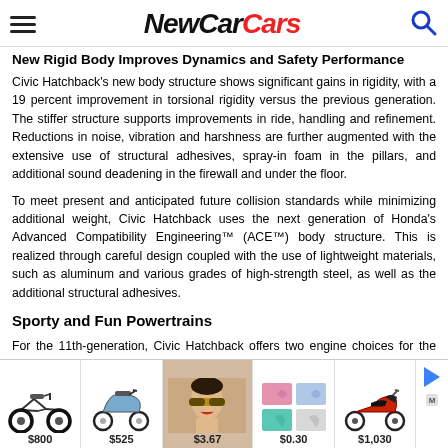NewCarCars
New Rigid Body Improves Dynamics and Safety Performance
Civic Hatchback's new body structure shows significant gains in rigidity, with a 19 percent improvement in torsional rigidity versus the previous generation. The stiffer structure supports improvements in ride, handling and refinement. Reductions in noise, vibration and harshness are further augmented with the extensive use of structural adhesives, spray-in foam in the pillars, and additional sound deadening in the firewall and under the floor.
To meet present and anticipated future collision standards while minimizing additional weight, Civic Hatchback uses the next generation of Honda's Advanced Compatibility Engineering™ (ACE™) body structure. This is realized through careful design coupled with the use of lightweight materials, such as aluminum and various grades of high-strength steel, as well as the additional structural adhesives.
Sporty and Fun Powertrains
For the 11th-generation, Civic Hatchback offers two engine choices for the first time, and both will be available with a 6-speed manual transmission. LX and
[Figure (infographic): Advertisement bar with product images and prices: electric bike $800, scooter $525, woman with sunglasses $3.67, fabric textures $0.30, motorcycle $1,030]